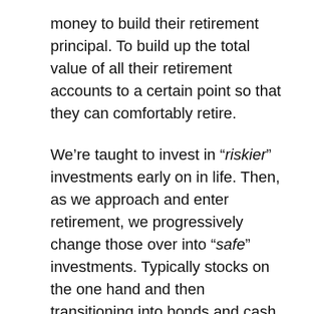money to build their retirement principal. To build up the total value of all their retirement accounts to a certain point so that they can comfortably retire.
We're taught to invest in “riskier” investments early on in life. Then, as we approach and enter retirement, we progressively change those over into “safe” investments. Typically stocks on the one hand and then transitioning into bonds and cash on the other.
We enjoy seeing our retirement principal grow as the stock market is good, and we are terrified when we see it fall. The thought of losing our life-saving drives many people to choose “safer” investments in retirement. They select “fixed